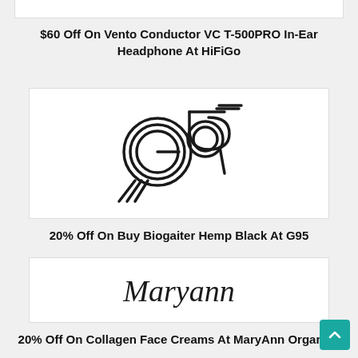[Figure (logo): Partial top card (cropped at top of page)]
$60 Off On Vento Conductor VC T-500PRO In-Ear Headphone At HiFiGo
[Figure (logo): G95 brand logo - stylized '95' with circular 'G' design in black outline]
20% Off On Buy Biogaiter Hemp Black At G95
[Figure (logo): MaryAnn cursive script logo in black]
20% Off On Collagen Face Creams At MaryAnn Organics
[Figure (logo): Partial card at bottom (cropped)]